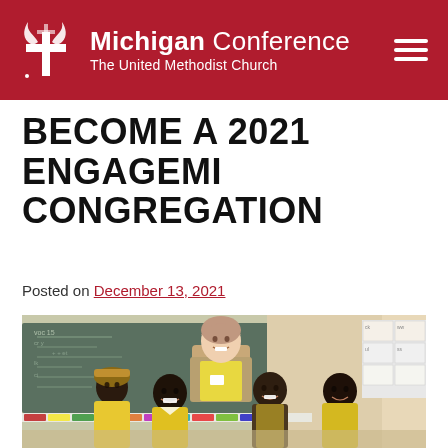Michigan Conference – The United Methodist Church
BECOME A 2021 ENGAGEMI CONGREGATION
Posted on December 13, 2021
[Figure (photo): A woman (missionary/volunteer) stands smiling behind four young African children in yellow school uniforms inside a classroom with a chalkboard and colorful educational posters on the wall.]